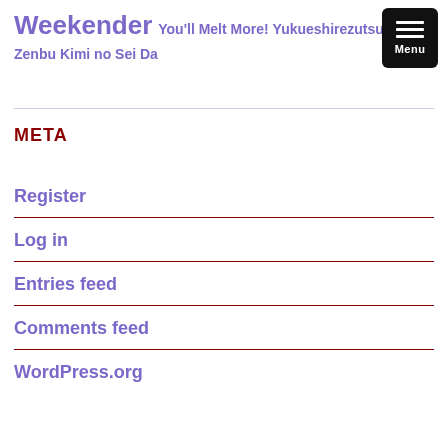Weekender You'll Melt More! Yukueshirezutsure Zenbu Kimi no Sei Da
META
Register
Log in
Entries feed
Comments feed
WordPress.org